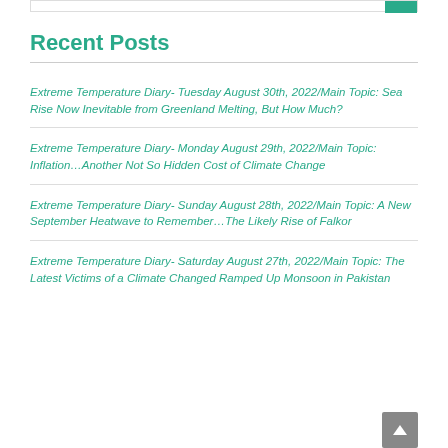Recent Posts
Extreme Temperature Diary- Tuesday August 30th, 2022/Main Topic: Sea Rise Now Inevitable from Greenland Melting, But How Much?
Extreme Temperature Diary- Monday August 29th, 2022/Main Topic: Inflation…Another Not So Hidden Cost of Climate Change
Extreme Temperature Diary- Sunday August 28th, 2022/Main Topic: A New September Heatwave to Remember…The Likely Rise of Falkor
Extreme Temperature Diary- Saturday August 27th, 2022/Main Topic: The Latest Victims of a Climate Changed Ramped Up Monsoon in Pakistan